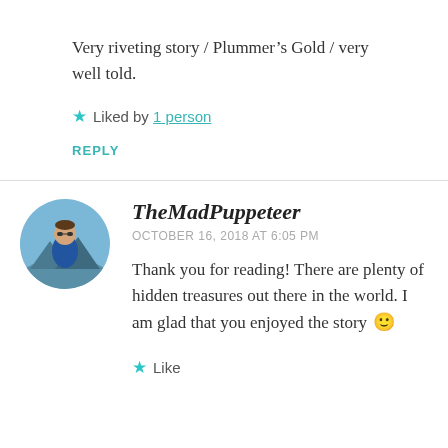Very riveting story / Plummer’s Gold / very well told.
Liked by 1 person
REPLY
TheMadPuppeteer
OCTOBER 16, 2018 AT 6:05 PM
Thank you for reading! There are plenty of hidden treasures out there in the world. I am glad that you enjoyed the story 🙂
Like